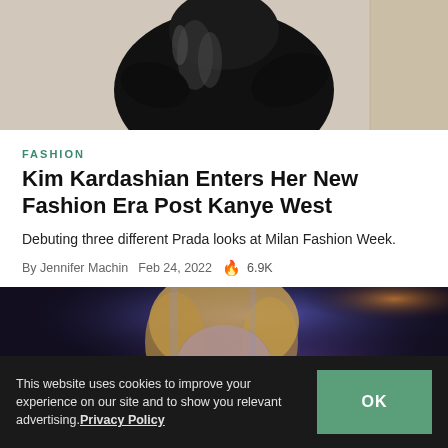[Figure (photo): Top portion of a person wearing a black latex/leather outfit, from waist up, against a beige/cream wall background.]
FASHION
Kim Kardashian Enters Her New Fashion Era Post Kanye West
Debuting three different Prada looks at Milan Fashion Week.
By Jennifer Machin  Feb 24, 2022  🔥 6.9K
[Figure (photo): A blonde woman with eyes closed, illuminated by blue/purple lighting, shown from the neck up.]
This website uses cookies to improve your experience on our site and to show you relevant advertising. Privacy Policy   OK